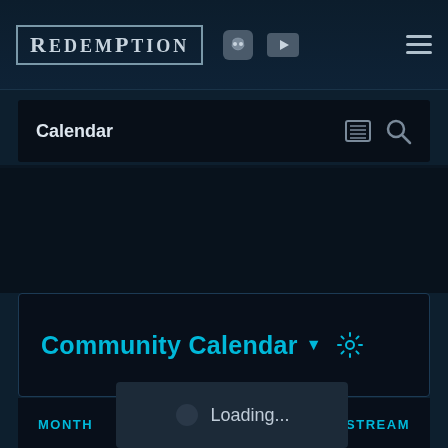REDEMPTION
Calendar
Community Calendar
June 29, 2022
Loading...
MONTH STREAM